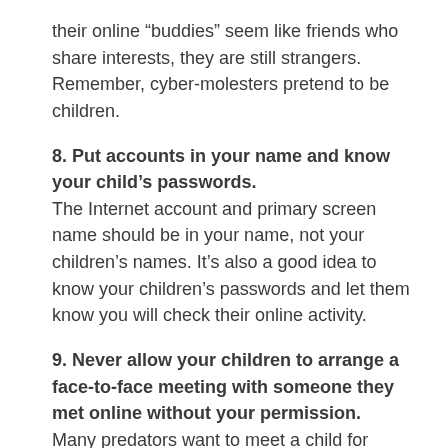their online “buddies” seem like friends who share interests, they are still strangers. Remember, cyber-molesters pretend to be children.
8. Put accounts in your name and know your child’s passwords.
The Internet account and primary screen name should be in your name, not your children’s names. It’s also a good idea to know your children’s passwords and let them know you will check their online activity.
9. Never allow your children to arrange a face-to-face meeting with someone they met online without your permission.
Many predators want to meet a child for sexual contact. Your child should never meet a